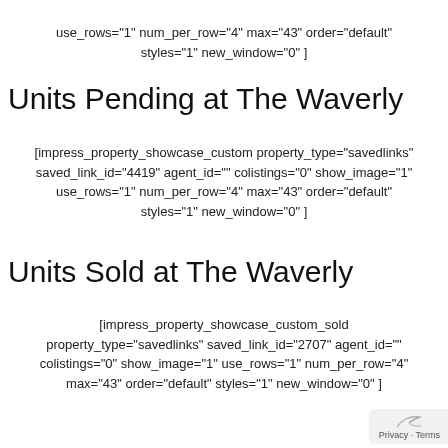use_rows="1" num_per_row="4" max="43" order="default" styles="1" new_window="0" ]
Units Pending at The Waverly
[impress_property_showcase_custom property_type="savedlinks" saved_link_id="4419" agent_id="" colistings="0" show_image="1" use_rows="1" num_per_row="4" max="43" order="default" styles="1" new_window="0" ]
Units Sold at The Waverly
[impress_property_showcase_custom_sold property_type="savedlinks" saved_link_id="2707" agent_id="" colistings="0" show_image="1" use_rows="1" num_per_row="4" max="43" order="default" styles="1" new_window="0" ]